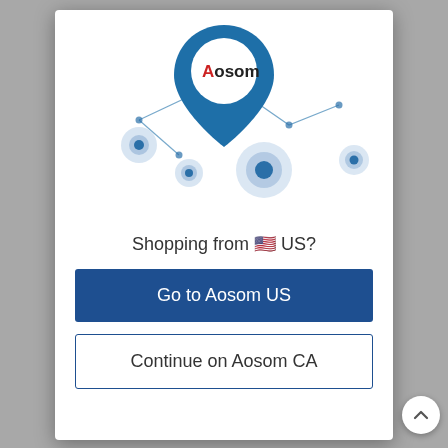[Figure (illustration): Aosom brand logo pin/map marker illustration with location dots and connecting lines on a map background]
Shopping from 🇺🇸 US?
Go to Aosom US
Continue on Aosom CA